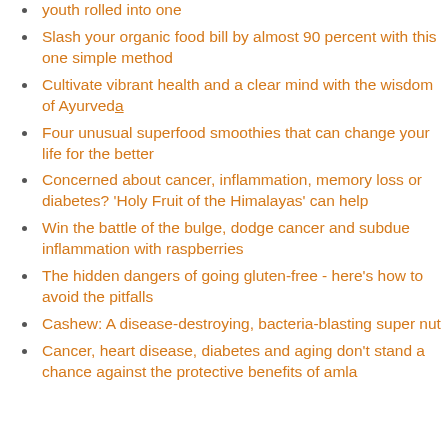youth rolled into one
Slash your organic food bill by almost 90 percent with this one simple method
Cultivate vibrant health and a clear mind with the wisdom of Ayurveda
Four unusual superfood smoothies that can change your life for the better
Concerned about cancer, inflammation, memory loss or diabetes? 'Holy Fruit of the Himalayas' can help
Win the battle of the bulge, dodge cancer and subdue inflammation with raspberries
The hidden dangers of going gluten-free - here's how to avoid the pitfalls
Cashew: A disease-destroying, bacteria-blasting super nut
Cancer, heart disease, diabetes and aging don't stand a chance against the protective benefits of amla